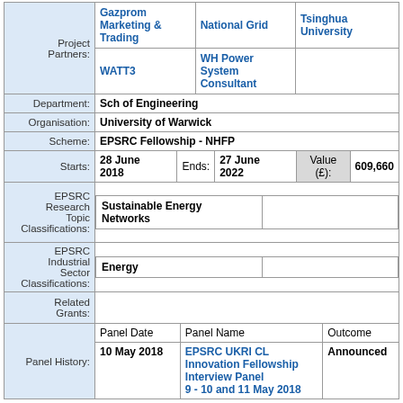| Label | Content |
| --- | --- |
| Project Partners: | Gazprom Marketing & Trading | National Grid | Tsinghua University | WATT3 | WH Power System Consultant |
| Department: | Sch of Engineering |
| Organisation: | University of Warwick |
| Scheme: | EPSRC Fellowship - NHFP |
| Starts: | 28 June 2018 | Ends: | 27 June 2022 | Value (£): | 609,660 |
| EPSRC Research Topic Classifications: | Sustainable Energy Networks |
| EPSRC Industrial Sector Classifications: | Energy |
| Related Grants: |  |
| Panel History: | Panel Date | Panel Name | Outcome | 10 May 2018 | EPSRC UKRI CL Innovation Fellowship Interview Panel 9 - 10 and 11 May 2018 | Announced |